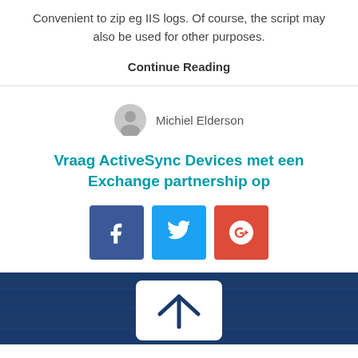Convenient to zip eg IIS logs. Of course, the script may also be used for other purposes.
Continue Reading
Michiel Elderson
Vraag ActiveSync Devices met een Exchange partnership op
[Figure (infographic): Social share buttons: Facebook (blue), Twitter (light blue), Google+ (orange-red)]
[Figure (photo): Dark blue background with a white card and a blue checkmark or arrow icon visible at the bottom of the page]